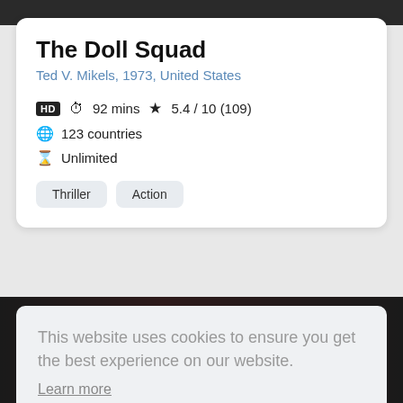[Figure (screenshot): Dark image strip at top of page]
The Doll Squad
Ted V. Mikels, 1973, United States
HD  92 mins  5.4 / 10 (109)
123 countries
Unlimited
Thriller
Action
[Figure (screenshot): Dark movie scene image in lower portion of page]
This website uses cookies to ensure you get the best experience on our website.
Learn more
Got it!